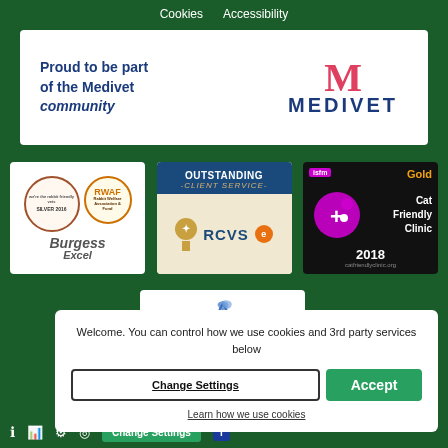Cookies   Accessibility
[Figure (logo): Medivet community banner with text 'Proud to be part of the Medivet community' and Medivet logo]
[Figure (logo): Burgess Excel RWAF Silver 2016 badge]
[Figure (logo): RCVS Outstanding Client Service badge]
[Figure (logo): ISFM Gold Cat Friendly Clinic 2018 badge]
[Figure (logo): Partially visible badge with blue wing logo]
Welcome. You can control how we use cookies and 3rd party services below
Change Settings
Accept
Learn how we use cookies
Change Settings